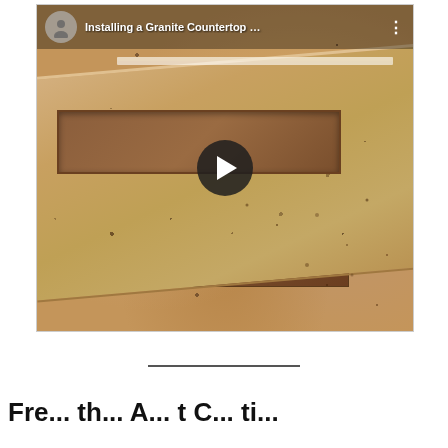[Figure (screenshot): A YouTube video thumbnail showing a granite countertop being installed, with a play button overlay and video title 'Installing a Granite Countertop …' visible in the top bar.]
— (horizontal divider line)
Fre... th... A... t C... ti...